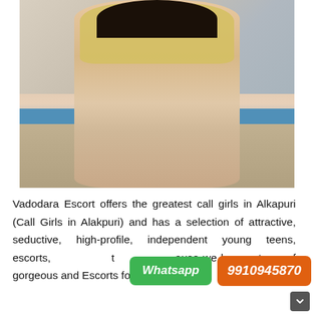[Figure (photo): A young woman seated near a pool, wearing a yellow crop top and beige shorts, with dark hair, hands clasped over her knees.]
Vadodara Escort offers the greatest call girls in Alkapuri (Call Girls in Alakpuri) and has a selection of attractive, seductive, high-profile, independent young teens, escorts, [Whatsapp] [9910945870] t ause we have a team of gorgeous and Escorts for Call Girls In